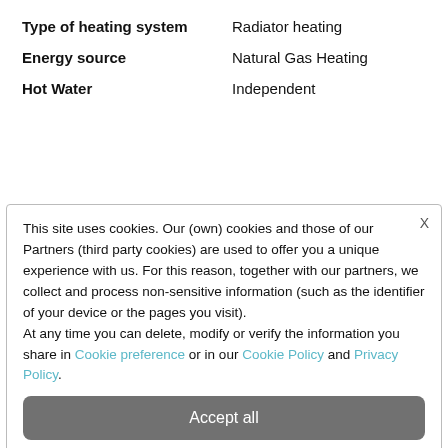Type of heating system   Radiator heating
Energy source   Natural Gas Heating
Hot Water   Independent
This site uses cookies. Our (own) cookies and those of our Partners (third party cookies) are used to offer you a unique experience with us. For this reason, together with our partners, we collect and process non-sensitive information (such as the identifier of your device or the pages you visit).
At any time you can delete, modify or verify the information you share in Cookie preference or in our Cookie Policy and Privacy Policy.
Accept all
Decline all
Customize